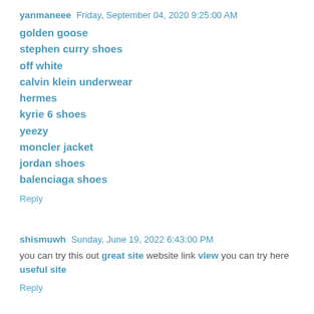yanmaneee  Friday, September 04, 2020 9:25:00 AM
golden goose
stephen curry shoes
off white
calvin klein underwear
hermes
kyrie 6 shoes
yeezy
moncler jacket
jordan shoes
balenciaga shoes
Reply
shismuwh  Sunday, June 19, 2022 6:43:00 PM
you can try this out great site website link view you can try here useful site
Reply